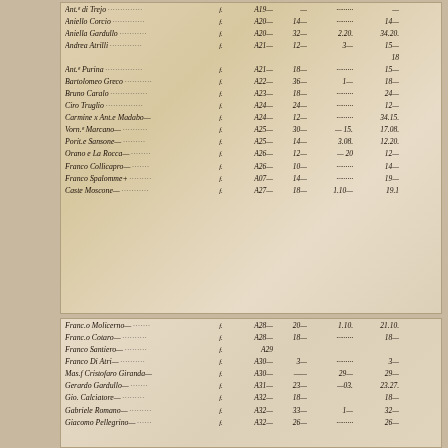| Name |  | Ref | Col1 | Col2 | Total |
| --- | --- | --- | --- | --- | --- |
| Ant.a di Trejo | f. | A19— | — | — | — |
| Aniello Corcio | f. | A20— | 14— | —— | 14— |
| Aniella Gardullo | f. | A20— | 32— | 2.20. | 34.20. |
| Andrea Atrilli | f. | A21— | 12— | 3— | 15— |
|  |  |  |  |  | 18 |
| Ant.a Purina | f. | A21— | 18— | —— | 15— |
| Bartolomeo Greco | f. | A22— | 36— | 1— | 18— |
| Bruno Caralo | f. | A23— | 18— | —— | 24— |
| Ciro Truglio | f. | A24— | 24— | —— | 12— |
| Carmine x Ant.e Madabo— | f. | A24— | 12— | —— | 34.15. |
| Vorn.a Marcano— | f. | A25— | 30— | — 15. | 17.08. |
| Porit.e Sansone— | f. | A25— | 14— | 3.08. | 12.20. |
| Orano e La Rocca— | f. | A26— | 12— | — 20 | 12— |
| Franco Collicapro— | f. | A26— | 10— | —— | 14— |
| Franco Spalomme+ | f. | A07— | 14— | —— | 19— |
| Caste Moscone— | f. | A27— | 18— | 1.10— | 19.1 |
| Name |  | Ref | Col1 | Col2 | Total |
| --- | --- | --- | --- | --- | --- |
| Franc.o Molicerno— | f. | A28— | 20— | 1.10. | 21.10. |
| Franc.o Cotaro— | f. | A28— | 18— | —— | 18— |
| Franco Santiero— | f. | A29 |  |  |  |
| Franco Di Atri— | f. | A30— | 3— | —— | 3— |
| Mas.f Cristofaro Giranda— | f. | A30— | —— | 29— | 29— |
| Gerardo Gardullo— | f. | A31— | 23— | —03. | 23.27. |
| Gio. Calciatore— | f. | A32— | 18— |  | 18— |
| Gabriele Romano— | f. | A32— | 33— | 1— | 32— |
| Giacomo Pellegrino— | f. | A32— | 26— | —— | 26— |